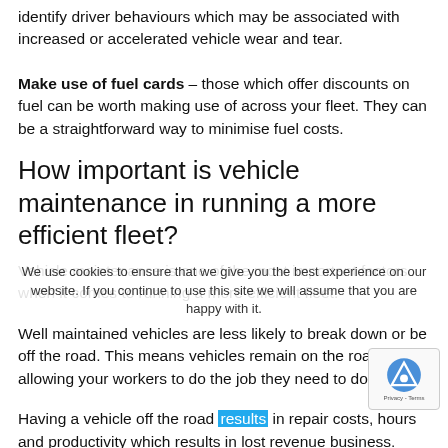identify driver behaviours which may be associated with increased or accelerated vehicle wear and tear.
Make use of fuel cards – those which offer discounts on fuel can be worth making use of across your fleet. They can be a straightforward way to minimise fuel costs.
How important is vehicle maintenance in running a more efficient fleet?
Vehicle maintenance is one of the most important factors when it comes to running a more efficient fleet.
Well maintained vehicles are less likely to break down or be off the road. This means vehicles remain on the road, allowing your workers to do the job they need to do.
Having a vehicle off the road results in repair costs, hours and productivity which results in lost revenue business. Therefore, increasing the costs associated with